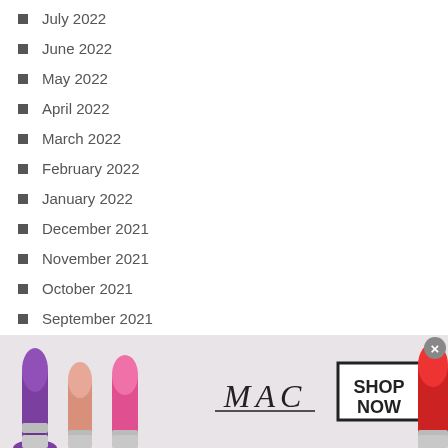July 2022
June 2022
May 2022
April 2022
March 2022
February 2022
January 2022
December 2021
November 2021
October 2021
September 2021
August 2021
July 2021
June 2021
May 2021
April 2021
[Figure (photo): MAC cosmetics advertisement banner showing lipsticks in purple, pink, and red colors with MAC logo and SHOP NOW button]